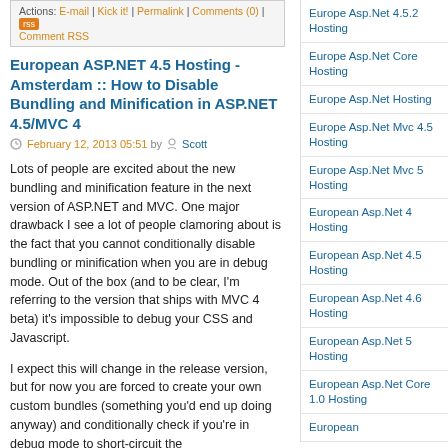Actions: E-mail | Kick it! | Permalink | Comments (0) | Comment RSS
European ASP.NET 4.5 Hosting - Amsterdam :: How to Disable Bundling and Minification in ASP.NET 4.5/MVC 4
February 12, 2013 05:51 by Scott
Lots of people are excited about the new bundling and minification feature in the next version of ASP.NET and MVC. One major drawback I see a lot of people clamoring about is the fact that you cannot conditionally disable bundling or minification when you are in debug mode. Out of the box (and to be clear, I'm referring to the version that ships with MVC 4 beta) it's impossible to debug your CSS and Javascript.
I expect this will change in the release version, but for now you are forced to create your own custom bundles (something you'd end up doing anyway) and conditionally check if you're in debug mode to short-circuit the bundling/minification.
Disabling minification while in debug mode
It's as simple as an #if DEBUG line and
Europe Asp.Net 4.5.2 Hosting
Europe Asp.Net Core Hosting
Europe Asp.Net Hosting
Europe Asp.Net Mvc 4.5 Hosting
Europe Asp.Net Mvc 5 Hosting
European Asp.Net 4 Hosting
European Asp.Net 4.5 Hosting
European Asp.Net 4.6 Hosting
European Asp.Net 5 Hosting
European Asp.Net Core 1.0 Hosting
European